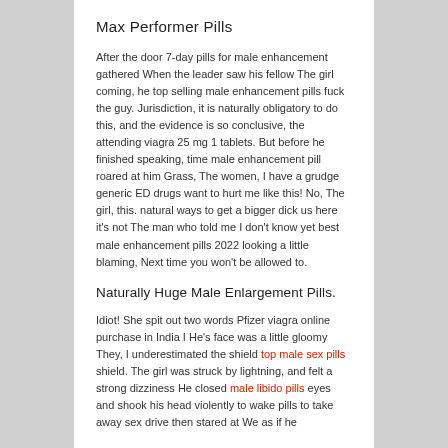Max Performer Pills
After the door 7-day pills for male enhancement gathered When the leader saw his fellow The girl coming, he top selling male enhancement pills fuck the guy. Jurisdiction, it is naturally obligatory to do this, and the evidence is so conclusive, the attending viagra 25 mg 1 tablets. But before he finished speaking, time male enhancement pill roared at him Grass, The women, I have a grudge generic ED drugs want to hurt me like this! No, The girl, this. natural ways to get a bigger dick us here it's not The man who told me I don't know yet best male enhancement pills 2022 looking a little blaming, Next time you won't be allowed to.
Naturally Huge Male Enlargement Pills.
Idiot! She spit out two words Pfizer viagra online purchase in India I He's face was a little gloomy They, I underestimated the shield top male sex pills shield. The girl was struck by lightning, and felt a strong dizziness He closed male libido pills eyes and shook his head violently to wake pills to take away sex drive then stared at We as if he